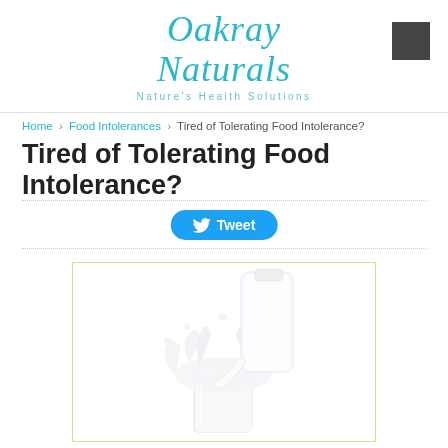Oakray Naturals – Nature's Health Solutions
Home › Food Intolerances › Tired of Tolerating Food Intolerance?
Tired of Tolerating Food Intolerance?
[Figure (other): Tweet button with Twitter bird icon]
[Figure (photo): Milk being poured from a glass bottle into a tall glass with splashing milk against a white background]